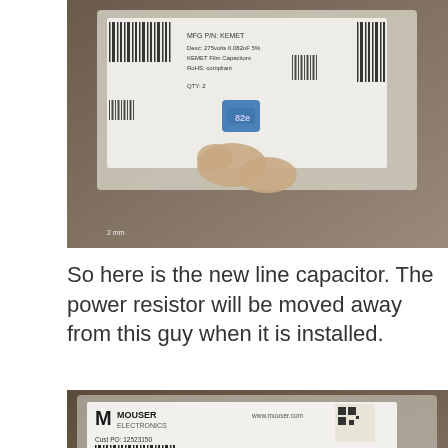[Figure (photo): Photo of a hand holding a blue film capacitor (275V, KEMET) in a plastic bag with a barcode label showing part information.]
So here is the new line capacitor. The power resistor will be moved away from this guy when it is installed.
[Figure (photo): Photo of a Mouser Electronics bag label showing part EEU-FC2A100 (10uF 100V Panasonic Aluminium Electrolytic Capacitor), RoHS compliant, with barcodes. A reCAPTCHA Privacy-Terms badge overlays the bottom-right corner.]